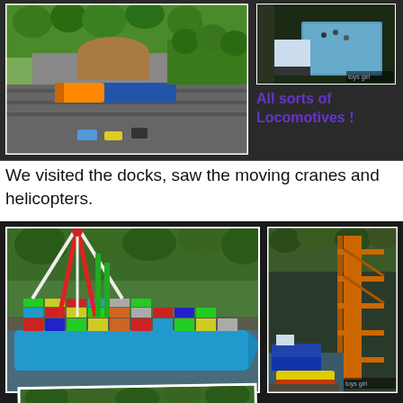[Figure (photo): Aerial view of a train station with blue and orange locomotive, surrounded by trees and buildings]
[Figure (photo): Aerial view of a building/station roof with people]
All sorts of Locomotives !
We visited the docks, saw the moving cranes and helicopters.
[Figure (photo): Container ship loaded with colorful containers at a dock with cranes]
[Figure (photo): Boats and yellow crane structure at a dock]
[Figure (photo): Aerial view of dock area with greenery]